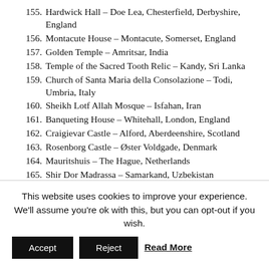155. Hardwick Hall – Doe Lea, Chesterfield, Derbyshire, England
156. Montacute House – Montacute, Somerset, England
157. Golden Temple – Amritsar, India
158. Temple of the Sacred Tooth Relic – Kandy, Sri Lanka
159. Church of Santa Maria della Consolazione – Todi, Umbria, Italy
160. Sheikh Lotf Allah Mosque – Isfahan, Iran
161. Banqueting House – Whitehall, London, England
162. Craigievar Castle – Alford, Aberdeenshire, Scotland
163. Rosenborg Castle – Øster Voldgade, Denmark
164. Mauritshuis – The Hague, Netherlands
165. Shir Dor Madrassa – Samarkand, Uzbekistan
This website uses cookies to improve your experience. We'll assume you're ok with this, but you can opt-out if you wish. Accept Reject Read More